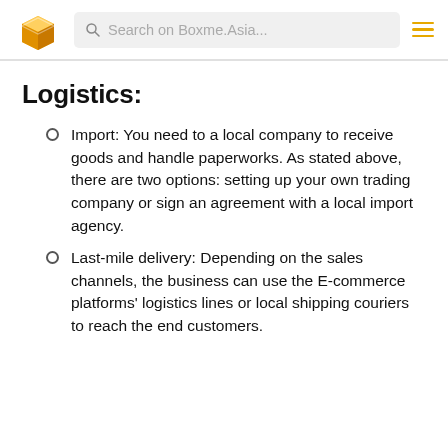Search on Boxme.Asia...
Logistics:
Import: You need to a local company to receive goods and handle paperworks. As stated above, there are two options: setting up your own trading company or sign an agreement with a local import agency.
Last-mile delivery: Depending on the sales channels, the business can use the E-commerce platforms' logistics lines or local shipping couriers to reach the end customers.